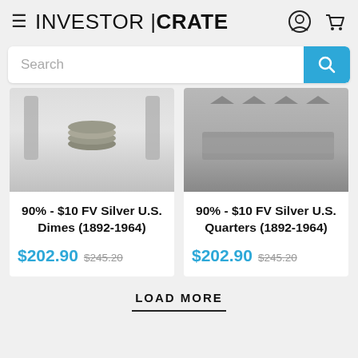INVESTOR | CRATE
[Figure (screenshot): Search bar with blue search button]
[Figure (photo): Product image: stacked silver dimes in coin holder on white/grey background]
90% - $10 FV Silver U.S. Dimes (1892-1964)
$202.90  $245.20
[Figure (photo): Product image: silver quarters in coin holder on grey background]
90% - $10 FV Silver U.S. Quarters (1892-1964)
$202.90  $245.20
LOAD MORE